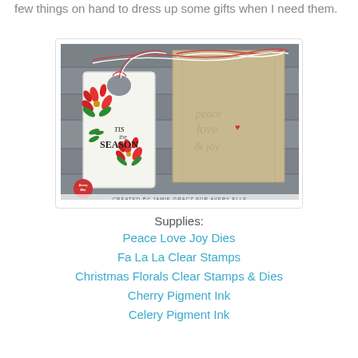few things on hand to dress up some gifts when I need them.
[Figure (photo): Craft photo showing a door hanger tag decorated with red poinsettia flowers stamped with 'TIS the SEASON', tied with red and white twine, alongside a kraft paper bag stamped with 'peace love & joy' in glitter/silver with a red heart. Text at bottom: CREATED BY JAMIE GRACZ FOR AVERY ELLE]
Supplies:
Peace Love Joy Dies
Fa La La Clear Stamps
Christmas Florals Clear Stamps & Dies
Cherry Pigment Ink
Celery Pigment Ink